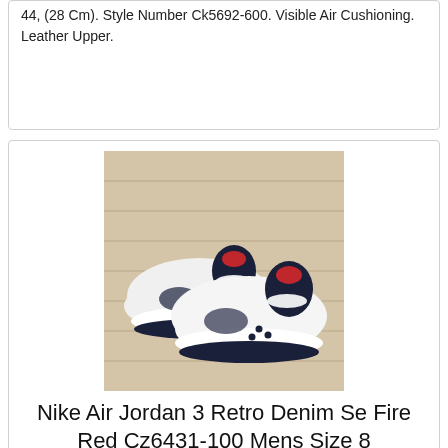44, (28 Cm). Style Number Ck5692-600. Visible Air Cushioning. Leather Upper.
[Figure (photo): Photo of Nike Air Jordan 3 Retro sneakers in white, black, and red colorway, displayed on a wooden background]
Nike Air Jordan 3 Retro Denim Se Fire Red Cz6431-100 Mens Size 8
Nike Air Jordan 3 Retro Denim Se Fire Red Cz6431-100 Mens Size 8